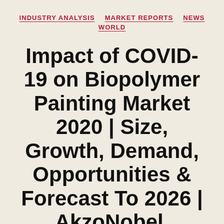INDUSTRY ANALYSIS   MARKET REPORTS   NEWS   WORLD
Impact of COVID-19 on Biopolymer Painting Market 2020 | Size, Growth, Demand, Opportunities & Forecast To 2026 | AkzoNobel, Arkema, BASF, Cargill, NatureWorks